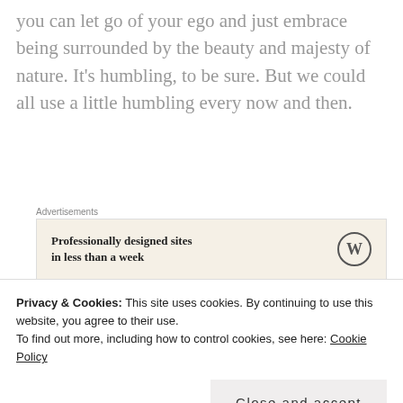you can let go of your ego and just embrace being surrounded by the beauty and majesty of nature. It's humbling, to be sure. But we could all use a little humbling every now and then.
[Figure (other): WordPress advertisement banner: 'Professionally designed sites in less than a week' with WordPress logo on beige background. Labeled 'Advertisements' above and 'REPORT THIS AD' below.]
Luxury vacations may be relaxing, but
Privacy & Cookies: This site uses cookies. By continuing to use this website, you agree to their use. To find out more, including how to control cookies, see here: Cookie Policy
Close and accept
cannot be matched by laying around a pool for